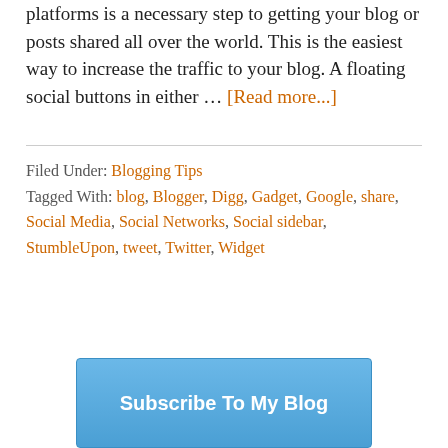platforms is a necessary step to getting your blog or posts shared all over the world. This is the easiest way to increase the traffic to your blog. A floating social buttons in either … [Read more...]
Filed Under: Blogging Tips
Tagged With: blog, Blogger, Digg, Gadget, Google, share, Social Media, Social Networks, Social sidebar, StumbleUpon, tweet, Twitter, Widget
[Figure (other): Subscribe To My Blog button/widget — blue gradient box with white bold text]